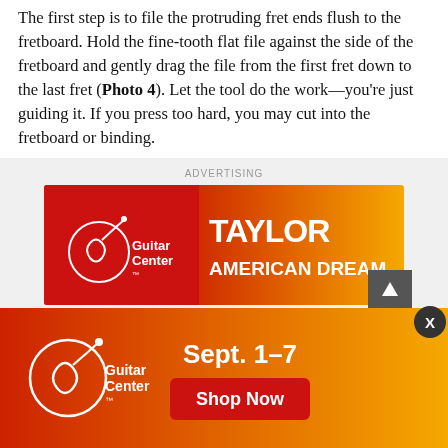The first step is to file the protruding fret ends flush to the fretboard. Hold the fine-tooth flat file against the side of the fretboard and gently drag the file from the first fret down to the last fret (Photo 4). Let the tool do the work—you're just guiding it. If you press too hard, you may cut into the fretboard or binding.
[Figure (advertisement): Guitar Center banner ad for Taylor American Dream promotion on red-to-orange gradient background]
Once the frets are filed flush to the fretboard, angle the flat file slightly—approximately 35 to 45 degrees—and glide along the edge of each fret to create a uniform bevel. This is called the bevel. If the bevel is not level on the frets when y...
[Figure (advertisement): Guitar Center overlay ad for Sept. 1-7 sale with Shop Now button on orange gradient background]